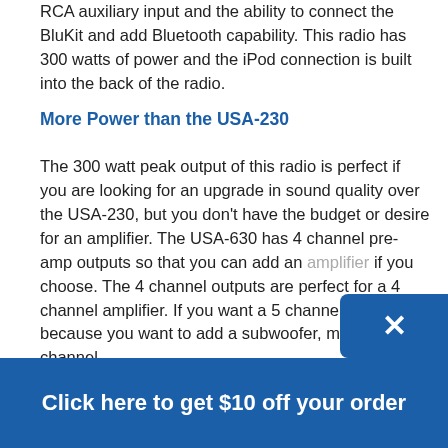RCA auxiliary input and the ability to connect the BluKit and add Bluetooth capability. This radio has 300 watts of power and the iPod connection is built into the back of the radio.
More Power than the USA-230
The 300 watt peak output of this radio is perfect if you are looking for an upgrade in sound quality over the USA-230, but you don't have the budget or desire for an amplifier. The USA-630 has 4 channel pre-amp outputs so that you can add an amplifier if you choose. The 4 channel outputs are perfect for a 4 channel amplifier. If you want a 5 channel amplifier because you want to add a subwoofer, most 5 channel
[Figure (other): Blue popup close button with X icon in bottom-right corner]
Click here to get $10 off your order